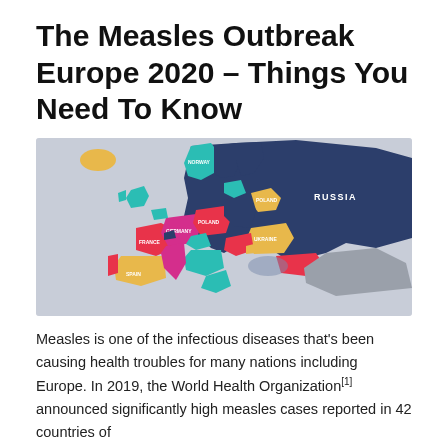The Measles Outbreak Europe 2020 – Things You Need To Know
[Figure (map): Colorful political map of Europe showing countries in various colors (dark navy, magenta/pink, teal, yellow/gold, red, gray). Russia appears in dark navy on the right. Countries labeled include Russia, France, Germany, Poland, Spain, Ukraine and others. The map uses bold colors to differentiate countries.]
Measles is one of the infectious diseases that's been causing health troubles for many nations including Europe. In 2019, the World Health Organization[1] announced significantly high measles cases reported in 42 countries of